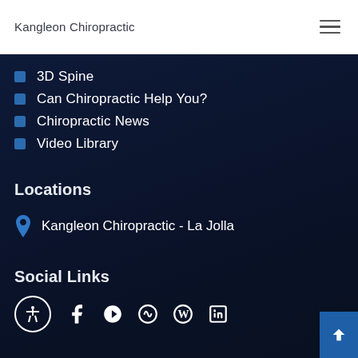Kangleon Chiropractic
3D Spine
Can Chiropractic Help You?
Chiropractic News
Video Library
Locations
Kangleon Chiropractic - La Jolla
Social Links
[Figure (other): Row of social media icons: accessibility icon (circle), Facebook, Yelp, Withings/health, WordPress, LinkedIn]